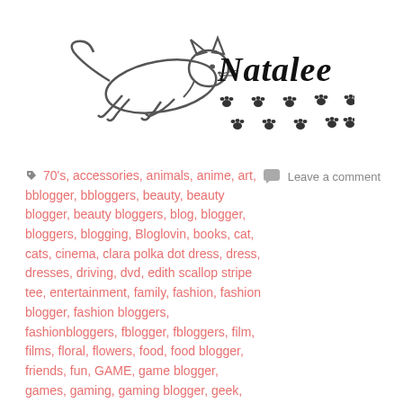[Figure (illustration): Hand-drawn logo with a cat running to the left and paw prints, with the cursive text 'Natalee' to the right]
🏷 70's, accessories, animals, anime, art, bblogger, bbloggers, beauty, beauty blogger, beauty bloggers, blog, blogger, bloggers, blogging, Bloglovin, books, cat, cats, cinema, clara polka dot dress, dress, dresses, driving, dvd, edith scallop stripe tee, entertainment, family, fashion, fashion blogger, fashion bloggers, fashionbloggers, fblogger, fbloggers, film, films, floral, flowers, food, food blogger, friends, fun, GAME, game blogger, games, gaming, gaming blogger, geek, geek blogger, geeky blogger, gogo blue floral dress, grunge, happy, hblogger, home, home blogger, ideas, inspiration, internet, joanie, joanie clothing, kawaii, lblogger,
Leave a comment